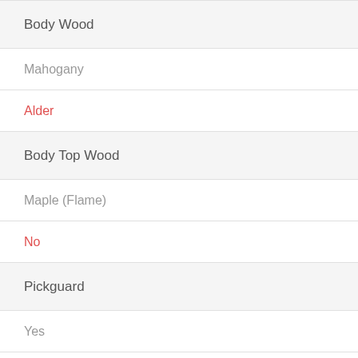Body Wood
Mahogany
Alder
Body Top Wood
Maple (Flame)
No
Pickguard
Yes
No